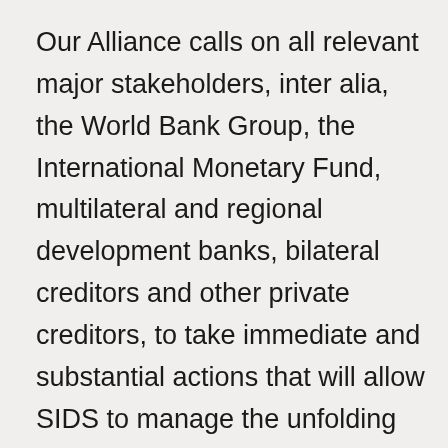Our Alliance calls on all relevant major stakeholders, inter alia, the World Bank Group, the International Monetary Fund, multilateral and regional development banks, bilateral creditors and other private creditors, to take immediate and substantial actions that will allow SIDS to manage the unfolding crisis caused by the COVID-19 pandemic and address our grave socio-economic impacts, while preserving our sustainable development achievements and commitments, and reinforce our resilience to climate change.
These actions should include the design of new and the enhancement of existing financial instruments to